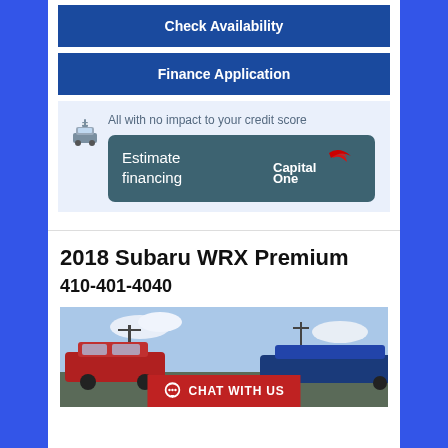Check Availability
Finance Application
All with no impact to your credit score
Estimate financing
[Figure (logo): Capital One logo in white text with red swoosh]
2018 Subaru WRX Premium
410-401-4040
[Figure (photo): Partial view of red cars in a dealer lot with blue sky, with a red CHAT WITH US banner overlay]
CHAT WITH US